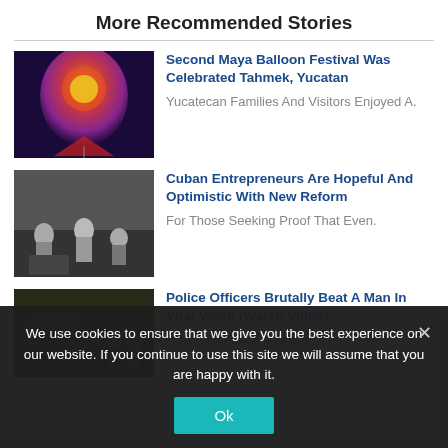More Recommended Stories
[Figure (photo): Colorful decorative Maya balloon with Hindu deity imagery at night festival]
Second Maya Balloon Festival Was Celebrated Tahmek, Yucatan
Yucatecan Families And Visitors Enjoyed A.
[Figure (photo): Cuban workers or people in an industrial or warehouse setting]
Cuban Entrepreneurs Are Hopeful And Optimistic With New Reform
For Those Seeking Proof That Even.
[Figure (photo): Police officers and a vehicle in a confrontational scene]
Police Officers Brutally Beat A Man In Viral Video (Watch Video)
Arkansas Police Officers.
We use cookies to ensure that we give you the best experience on our website. If you continue to use this site we will assume that you are happy with it.